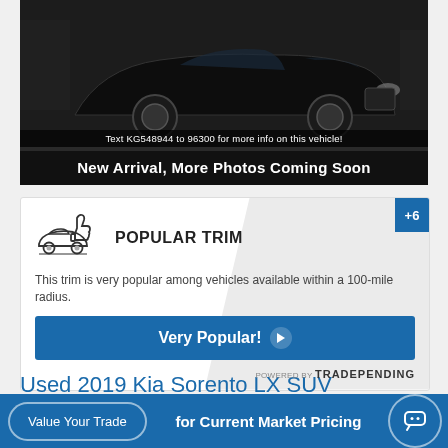[Figure (photo): Black Kia Sorento SUV photographed in a parking lot. Dark colored vehicle shown from front 3/4 angle.]
Text KG548944 to 96300 for more info on this vehicle!
New Arrival, More Photos Coming Soon
[Figure (infographic): Popular Trim badge with car icon with thumbs up, text reading POPULAR TRIM, description text, Very Popular button, and POWERED BY TRADEPENDING branding. +6 badge in top right corner.]
Used 2019 Kia Sorento LX SUV
List Price: $31,575
Discounted Internet Price: $28,68
Value Your Trade   for Current Market Pricing